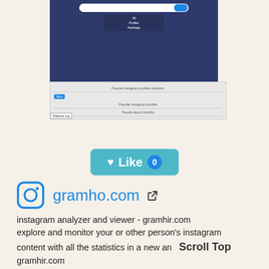[Figure (screenshot): Screenshot of gramho.com website showing search interface with dropdown menu (All, Profiles, Hashtags) and lower section with Popular Instagram profile statistics, Popular Instagram profiles, People about Gramho text]
[Figure (screenshot): Like button widget showing heart icon, 'Like' text, and count of 0 in blue circle on teal background]
gramho.com
instagram analyzer and viewer - gramhir.com explore and monitor your or other person's instagram content with all the statistics in a new an gramhir.com
Semrush Rank: 831,986
Facebook ♡: 107
Website Worth: $ 37,600
Categories: Arts/Music, Regional/Asia